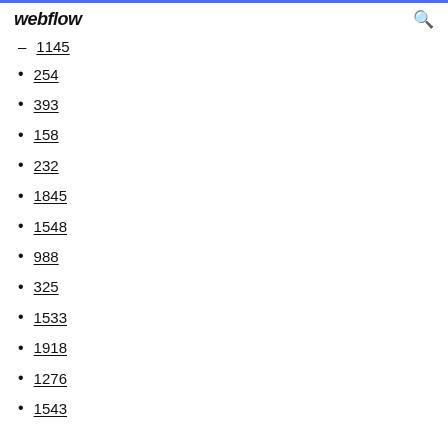webflow
1145
254
393
158
232
1845
1548
988
325
1533
1918
1276
1543